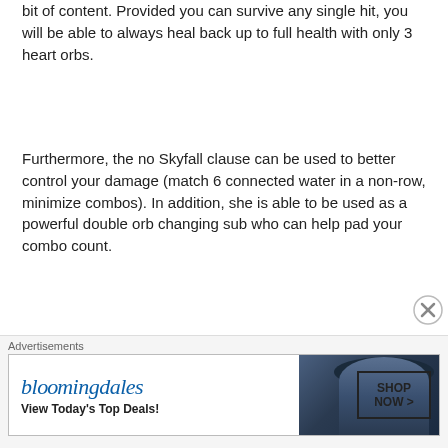bit of content. Provided you can survive any single hit, you will be able to always heal back up to full health with only 3 heart orbs.
Furthermore, the no Skyfall clause can be used to better control your damage (match 6 connected water in a non-row, minimize combos). In addition, she is able to be used as a powerful double orb changing sub who can help pad your combo count.
Elgenubi
[Figure (illustration): Avatar image of Elgenubi character - fantasy game character portrait]
Machine / God
3,295 HP / 1,775 ATK / 317 RCV
Advertisements
[Figure (other): Bloomingdale's advertisement banner with text 'View Today's Top Deals!' and 'SHOP NOW >']